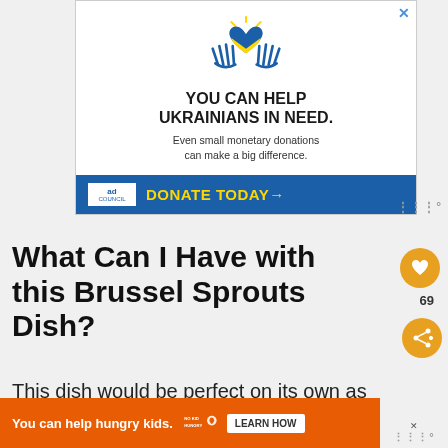[Figure (infographic): Ukraine charity ad banner with heart and hands logo, 'YOU CAN HELP UKRAINIANS IN NEED.' headline, subtext about donations, and a blue 'DONATE TODAY→' button with Ad Council branding]
What Can I Have with this Brussel Sprouts Dish?
This dish would be perfect on its own as it
[Figure (infographic): Bottom orange banner ad: 'You can help hungry kids.' with No Kid Hungry logo and 'LEARN HOW' button]